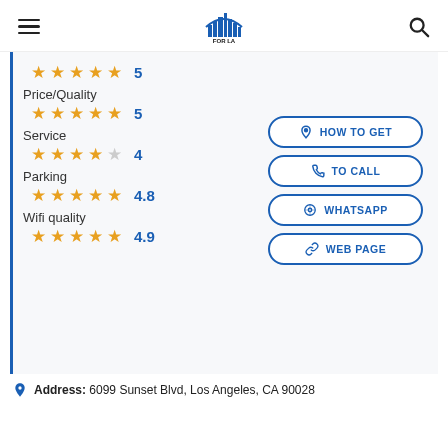FOR LA LOVERS
★★★★★ 5 (Price/Quality)
Price/Quality ★★★★★ 5
Service ★★★★☆ 4
Parking ★★★★★ 4.8
Wifi quality ★★★★★ 4.9
HOW TO GET
TO CALL
WHATSAPP
WEB PAGE
Address: 6099 Sunset Blvd, Los Angeles, CA 90028